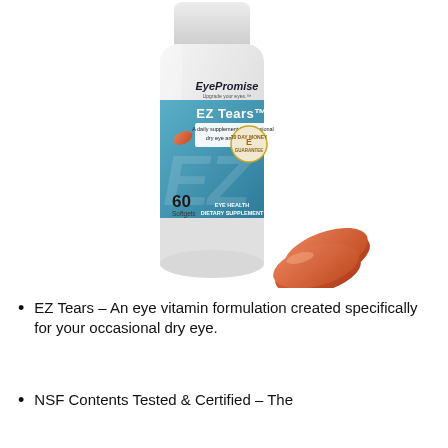[Figure (photo): EyePromise EZ Tears supplement bottle (white, with light blue label band showing 60 Softgels, Eye Health Dietary Supplement) with two orange softgel capsules beside the bottle base]
EZ Tears – An eye vitamin formulation created specifically for your occasional dry eye.
NSF Contents Tested & Certified – The